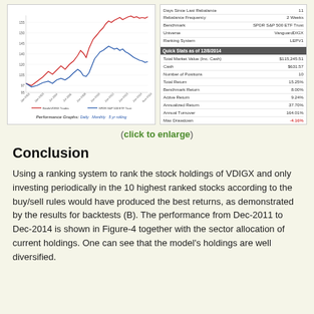[Figure (continuous-plot): Line chart showing performance of BestInVDIGX Trades vs SPDR S&P 500 ETF Trust from Jan-2001 to Nov-2014, with value of $100 investment on Y-axis ranging roughly 95-155. Two lines: red (BestInVDIGX) and blue (SPDR S&P 500).]
| Metric | Value |
| --- | --- |
| Days Since Last Rebalance | 11 |
| Rebalance Frequency | 2 Weeks |
| Benchmark | SPDR S&P 500 ETF Trust |
| Universe | VanguardDIGX |
| Ranking System | LEPV1 |
| Quick Stats as of 12/8/2014 |  |
| Total Market Value (Inc. Cash) | $115,245.51 |
| Cash | $631.57 |
| Number of Positions | 10 |
| Total Return | 15.25% |
| Benchmark Return | 8.00% |
| Active Return | 9.24% |
| Annualized Return | 37.70% |
| Annual Turnover | 164.01% |
| Max Drawdown | -4.16% |
| Benchmark Max Drawdown | -7.27% |
| Overall Winners | (12/17) 70.59% |
| Sharpe Ratio | 3.04 |
| Correlation with SPDR S&P 500 ETF Trust | 0.98 |
(click to enlarge)
Conclusion
Using a ranking system to rank the stock holdings of VDIGX and only investing periodically in the 10 highest ranked stocks according to the buy/sell rules would have produced the best returns, as demonstrated by the results for backtests (B). The performance from Dec-2011 to Dec-2014 is shown in Figure-4 together with the sector allocation of current holdings. One can see that the model's holdings are well diversified.